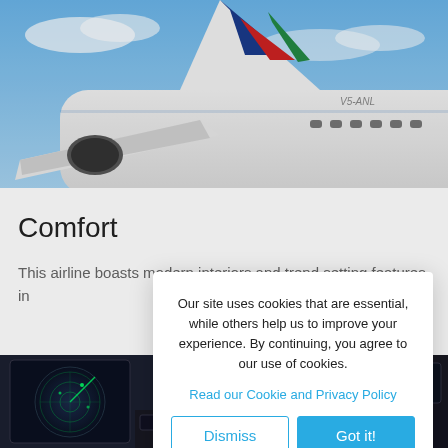[Figure (photo): Close-up photograph of the tail and fuselage of a white commercial aircraft with a colorful tail fin (blue, red, green) against a blue sky with clouds. Registration visible: V5-ANL.]
Comfort
This airline boasts modern interiors and trend setting features in
[Figure (photo): Photograph of aircraft cockpit instruments including radar screen display with green arcs, illuminated panels and controls.]
Our site uses cookies that are essential, while others help us to improve your experience. By continuing, you agree to our use of cookies.
Read our Cookie and Privacy Policy
Dismiss
Got it!